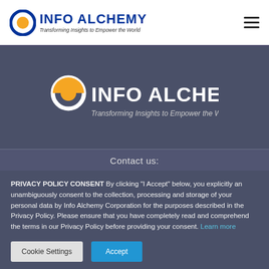[Figure (logo): Info Alchemy logo with orange/blue circular icon and text 'INFO ALCHEMY' with tagline 'Transforming Insights to Empower the World' in the white top header bar]
[Figure (logo): Info Alchemy logo (white version) with circular icon and text 'INFO ALCHEMY' and tagline 'Transforming Insights to Empower the World' on dark blue-grey background]
Contact us:
PRIVACY POLICY CONSENT By clicking "I Accept" below, you explicitly an unambiguously consent to the collection, processing and storage of your personal data by Info Alchemy Corporation for the purposes described in the Privacy Policy. Please ensure that you have completely read and comprehend the terms in our Privacy Policy before providing your consent. Learn more